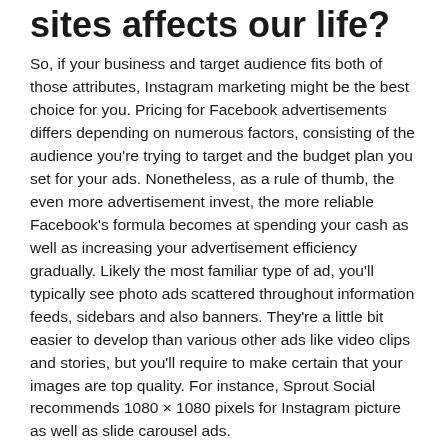sites affects our life?
So, if your business and target audience fits both of those attributes, Instagram marketing might be the best choice for you. Pricing for Facebook advertisements differs depending on numerous factors, consisting of the audience you're trying to target and the budget plan you set for your ads. Nonetheless, as a rule of thumb, the even more advertisement invest, the more reliable Facebook's formula becomes at spending your cash as well as increasing your advertisement efficiency gradually. Likely the most familiar type of ad, you'll typically see photo ads scattered throughout information feeds, sidebars and also banners. They're a little bit easier to develop than various other ads like video clips and stories, but you'll require to make certain that your images are top quality. For instance, Sprout Social recommends 1080 × 1080 pixels for Instagram picture as well as slide carousel ads.
Personal Devices
Social network is an essential component of Department of Protection procedures. This website is designed to aid the DoD community usage social media sites as well as various